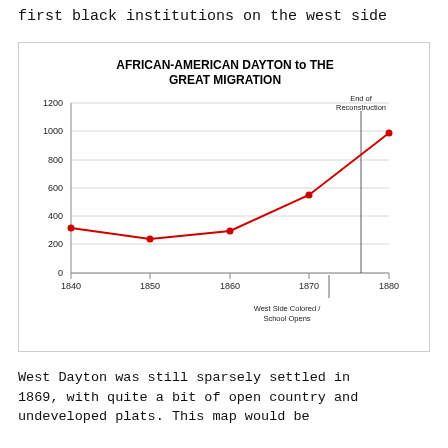first black institutions on the west side
[Figure (line-chart): AFRICAN-AMERICAN DAYTON to THE GREAT MIGRATION]
West Dayton was still sparsely settled in 1869, with quite a bit of open country and undeveloped plats. This map would be